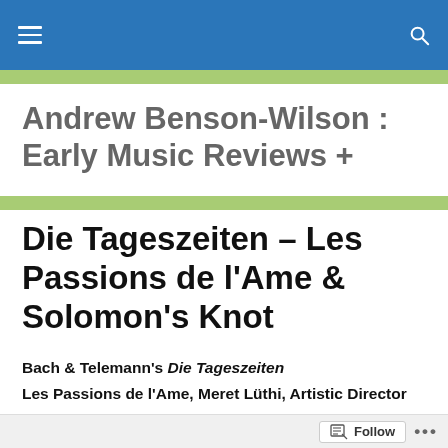Andrew Benson-Wilson : Early Music Reviews +
Andrew Benson-Wilson : Early Music Reviews +
Die Tageszeiten – Les Passions de l'Ame & Solomon's Knot
Bach & Telemann's Die Tageszeiten
Les Passions de l'Ame, Meret Lüthi, Artistic Director
Solomon's Knot, Jonathan Sells, Artistic Director
Follow